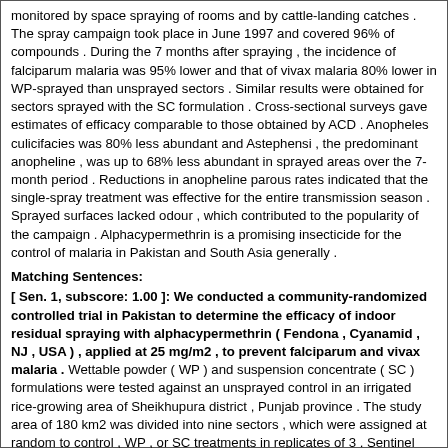monitored by space spraying of rooms and by cattle-landing catches . The spray campaign took place in June 1997 and covered 96% of compounds . During the 7 months after spraying , the incidence of falciparum malaria was 95% lower and that of vivax malaria 80% lower in WP-sprayed than unsprayed sectors . Similar results were obtained for sectors sprayed with the SC formulation . Cross-sectional surveys gave estimates of efficacy comparable to those obtained by ACD . Anopheles culicifacies was 80% less abundant and Astephensi , the predominant anopheline , was up to 68% less abundant in sprayed areas over the 7-month period . Reductions in anopheline parous rates indicated that the single-spray treatment was effective for the entire transmission season . Sprayed surfaces lacked odour , which contributed to the popularity of the campaign . Alphacypermethrin is a promising insecticide for the control of malaria in Pakistan and South Asia generally .
Matching Sentences:
[ Sen. 1, subscore: 1.00 ]: We conducted a community-randomized controlled trial in Pakistan to determine the efficacy of indoor residual spraying with alphacypermethrin ( Fendona , Cyanamid , NJ , USA ) , applied at 25 mg/m2 , to prevent falciparum and vivax malaria . Wettable powder ( WP ) and suspension concentrate ( SC ) formulations were tested against an unsprayed control in an irrigated rice-growing area of Sheikhupura district , Punjab province . The study area of 180 km2 was divided into nine sectors , which were assigned at random to control , WP , or SC treatments in replicates of 3 . Sentinel villages were selected from each sector for entomological and disease monitoring . Malaria was monitored by fortnightly active case detection ( ACD ) and by cross sectional parasite surveys on schoolchildren . Mosquito populations were monitored by space spraying of rooms and by cattle-landing catches . The spray campaign took place in June 1997 and covered 96% of compounds . During the 7 months after spraying ,